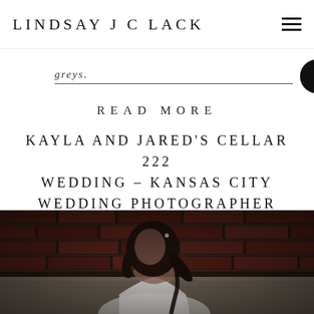LINDSAY J C LACK
greys.
READ MORE
KAYLA AND JARED'S CELLAR 222 WEDDING – KANSAS CITY WEDDING PHOTOGRAPHER
[Figure (photo): A bride with long dark hair wearing a white wedding dress, sitting in front of an exposed brick wall, looking to the side with a soft expression. She has a hair accessory and her hair is in a side braid.]